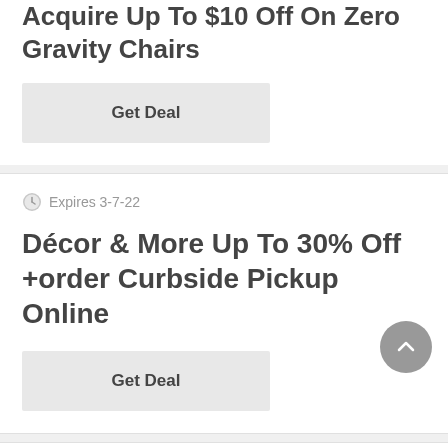Acquire Up To $10 Off On Zero Gravity Chairs
Get Deal
Expires 3-7-22
Décor & More Up To 30% Off +order Curbside Pickup Online
Get Deal
Expires 15-3-22